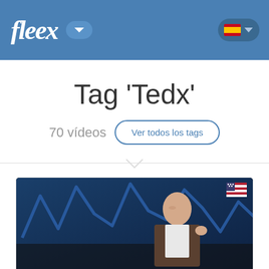fleex
Tag 'Tedx'
70 vídeos
Ver todos los tags
[Figure (screenshot): Video thumbnail showing a man speaking on stage in front of a projected line graph chart, with a US flag icon in the top right corner.]